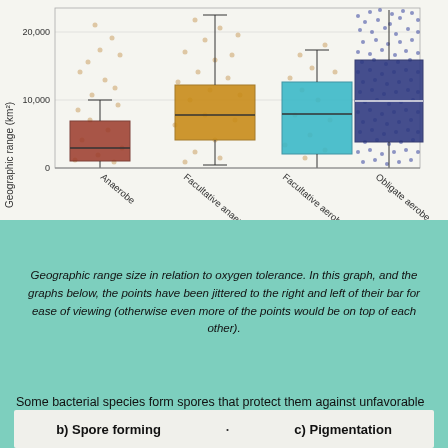[Figure (continuous-plot): Box plots with jittered scatter overlay showing geographic range (km²) vs oxygen tolerance categories: Anaerobe (red/brown box), Facultative anaerobe (orange box), Facultative aerobe (teal/cyan box), Obligate aerobe (dark blue box with dense blue scatter). Y-axis: Geographic range (km²) from 0 to ~25000+. X-axis labels are rotated diagonally.]
Geographic range size in relation to oxygen tolerance.  In this graph, and the graphs below, the points have been jittered to the right and left of their bar for ease of viewing (otherwise even more of the points would be on top of each other).
Some bacterial species form spores that protect them against unfavorable environmental conditions. The researchers expected that spore-forming bacteria would have larger geographic ranges than non-spore-forming bacteria.
b) Spore forming
c) Pigmentation